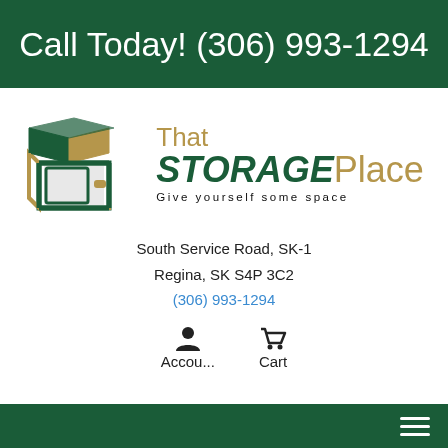Call Today! (306) 993-1294
[Figure (logo): That Storage Place logo with a stylized open storage box in green and tan, with text 'That STORAGEPlace' and tagline 'Give yourself some space']
South Service Road, SK-1
Regina, SK S4P 3C2
(306) 993-1294
Accou... Cart
Navigation menu (hamburger icon)